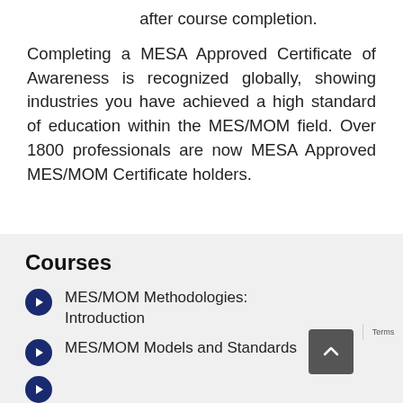after course completion.
Completing a MESA Approved Certificate of Awareness is recognized globally, showing industries you have achieved a high standard of education within the MES/MOM field. Over 1800 professionals are now MESA Approved MES/MOM Certificate holders.
Courses
MES/MOM Methodologies: Introduction
MES/MOM Models and Standards
MES/MOM...